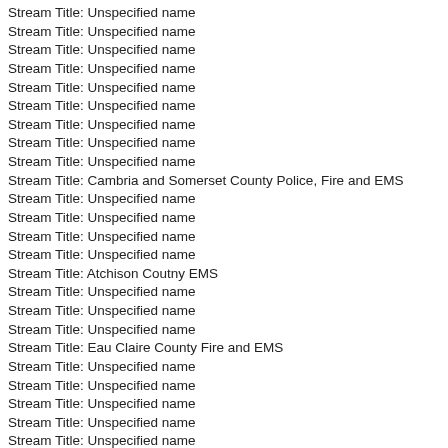Stream Title: Unspecified name
Stream Title: Unspecified name
Stream Title: Unspecified name
Stream Title: Unspecified name
Stream Title: Unspecified name
Stream Title: Unspecified name
Stream Title: Unspecified name
Stream Title: Unspecified name
Stream Title: Unspecified name
Stream Title: Cambria and Somerset County Police, Fire and EMS
Stream Title: Unspecified name
Stream Title: Unspecified name
Stream Title: Unspecified name
Stream Title: Unspecified name
Stream Title: Atchison Coutny EMS
Stream Title: Unspecified name
Stream Title: Unspecified name
Stream Title: Unspecified name
Stream Title: Eau Claire County Fire and EMS
Stream Title: Unspecified name
Stream Title: Unspecified name
Stream Title: Unspecified name
Stream Title: Unspecified name
Stream Title: Unspecified name
Stream Title: Unspecified name
Stream Title: Wayne County Law Enforcement